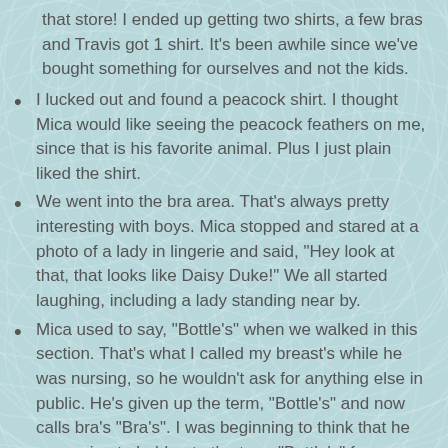that store! I ended up getting two shirts, a few bras and Travis got 1 shirt. It's been awhile since we've bought something for ourselves and not the kids.
I lucked out and found a peacock shirt. I thought Mica would like seeing the peacock feathers on me, since that is his favorite animal. Plus I just plain liked the shirt.
We went into the bra area. That's always pretty interesting with boys. Mica stopped and stared at a photo of a lady in lingerie and said, "Hey look at that, that looks like Daisy Duke!" We all started laughing, including a lady standing near by.
Mica used to say, "Bottle's" when we walked in this section. That's what I called my breast's while he was nursing, so he wouldn't ask for anything else in public. He's given up the term, "Bottle's" and now calls bra's "Bra's". I was beginning to think that he was going to hold onto the term "Bottle's" for breast's and bra's clear into